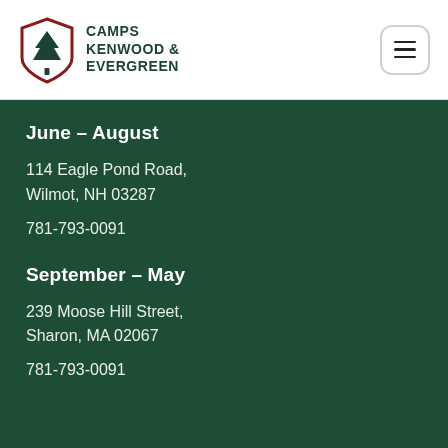CAMPS KENWOOD & EVERGREEN
June – August
114 Eagle Pond Road,
Wilmot, NH 03287
781-793-0091
September – May
239 Moose Hill Street,
Sharon, MA 02067
781-793-0091